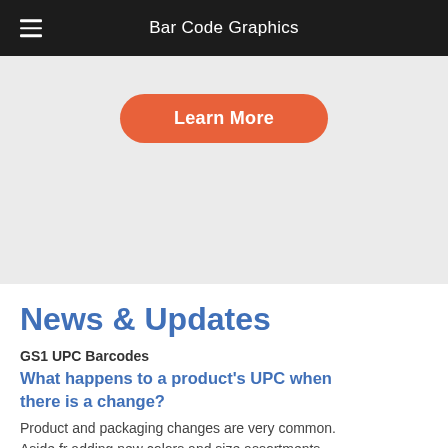Bar Code Graphics
[Figure (other): Gray hero/banner area with an orange 'Learn More' button]
News & Updates
GS1 UPC Barcodes
What happens to a product's UPC when there is a change?
Product and packaging changes are very common. Aside fr adding new colors and size assortments,...
July 19, 2022